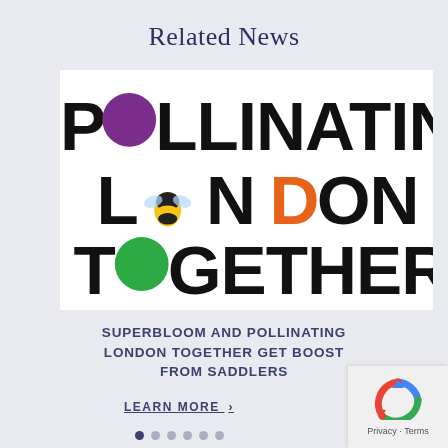Related News
[Figure (logo): Pollinating London Together logo with colorful circular accents and a bee illustration replacing the 'O' in London]
SUPERBLOOM AND POLLINATING LONDON TOGETHER GET BOOST FROM SADDLERS
LEARN MORE >
[Figure (other): Carousel navigation dots, first dot active (dark), rest inactive (grey)]